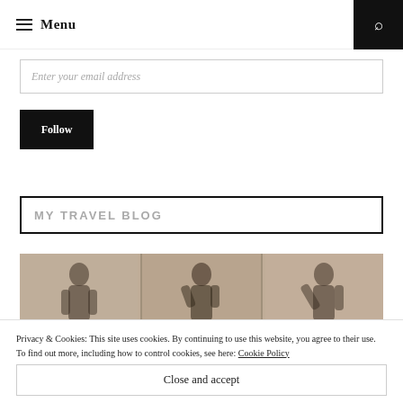≡ Menu
Enter your email address
Follow
MY TRAVEL BLOG
[Figure (photo): A horizontal photo strip showing three images of a woman posed against a stone/textured wall background]
Privacy & Cookies: This site uses cookies. By continuing to use this website, you agree to their use. To find out more, including how to control cookies, see here: Cookie Policy
Close and accept